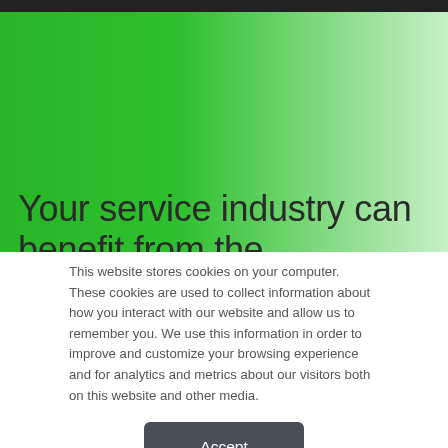[Figure (illustration): Dark top navigation bar at the very top of the page]
[Figure (illustration): Green to white gradient decorative background block]
Your service industry can benefit from the
This website stores cookies on your computer. These cookies are used to collect information about how you interact with our website and allow us to remember you. We use this information in order to improve and customize your browsing experience and for analytics and metrics about our visitors both on this website and other media.
Accept